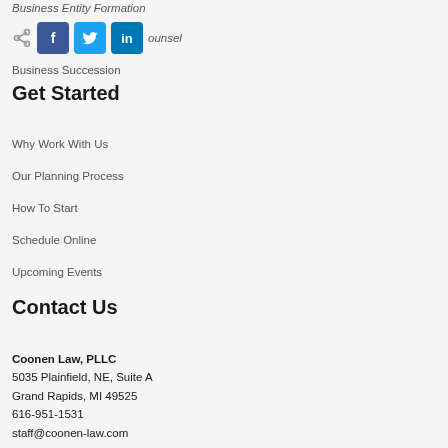Business Entity Formation
Small Business ... Counsel
Business Succession
Get Started
Why Work With Us
Our Planning Process
How To Start
Schedule Online
Upcoming Events
Contact Us
Coonen Law, PLLC
5035 Plainfield, NE, Suite A
Grand Rapids, MI 49525
616-951-1531
staff@coonen-law.com